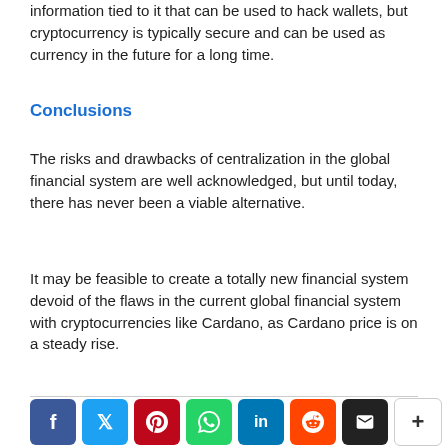information tied to it that can be used to hack wallets, but cryptocurrency is typically secure and can be used as currency in the future for a long time.
Conclusions
The risks and drawbacks of centralization in the global financial system are well acknowledged, but until today, there has never been a viable alternative.
It may be feasible to create a totally new financial system devoid of the flaws in the current global financial system with cryptocurrencies like Cardano, as Cardano price is on a steady rise.